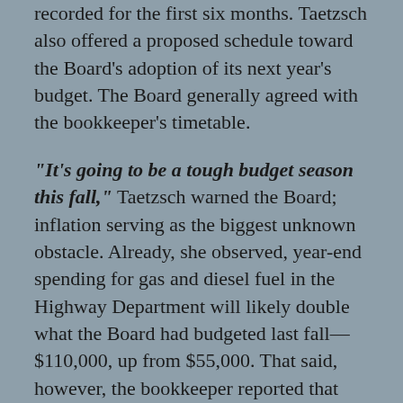recorded for the first six months.  Taetzsch also offered a proposed schedule toward the Board's adoption of its next year's budget.  The Board generally agreed with the bookkeeper's timetable.
“It’s going to be a tough budget season this fall,” Taetzsch warned the Board; inflation serving as the biggest unknown obstacle.  Already, she observed, year-end spending for gas and diesel fuel in the Highway Department will likely double what the Board had budgeted last fall—$110,000, up from $55,000.  That said, however, the bookkeeper reported that because the Town declined to tap a $30,000 bridge repair account, the 2022 Highway Budget will likely fall close to initial projections